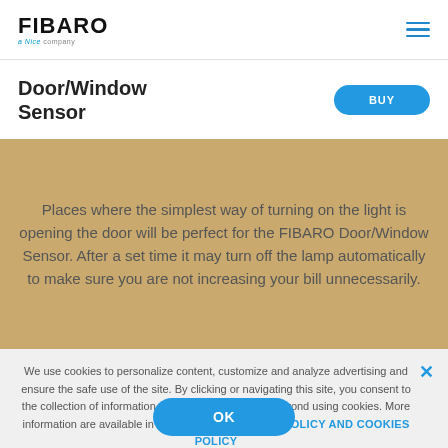FIBARO — a Nice company
Door/Window Sensor
Places where the simplest way of turning on the light is opening the door will be perfect for the FIBARO Door/Window Sensor. After a set time it may turn off the lamp automatically to make sure you are not increasing your bill unnecessarily.
We use cookies to personalize content, customize and analyze advertising and ensure the safe use of the site. By clicking or navigating this site, you consent to the collection of information at www.fibaro.com and beyond using cookies. More information are available in the document: PRIVACY POLICY AND COOKIES POLICY